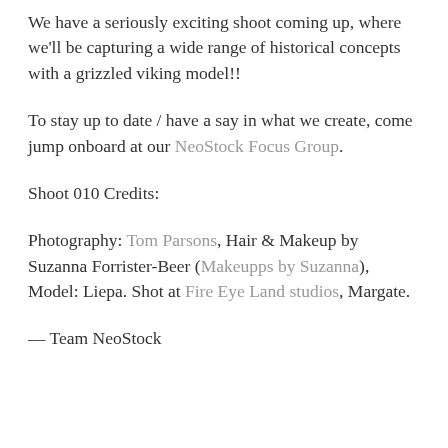We have a seriously exciting shoot coming up, where we'll be capturing a wide range of historical concepts with a grizzled viking model!!
To stay up to date / have a say in what we create, come jump onboard at our NeoStock Focus Group.
Shoot 010 Credits:
Photography: Tom Parsons, Hair & Makeup by Suzanna Forrister-Beer (Makeupps by Suzanna), Model: Liepa. Shot at Fire Eye Land studios, Margate.
— Team NeoStock